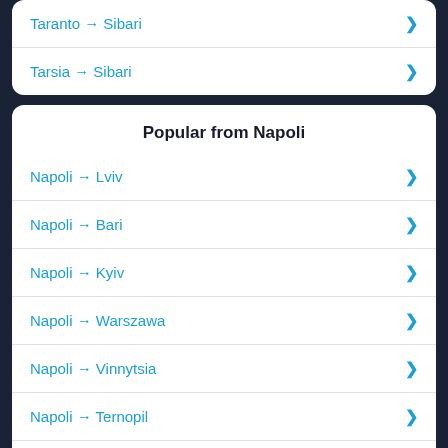Taranto → Sibari
Tarsia → Sibari
Popular from Napoli
Napoli → Lviv
Napoli → Bari
Napoli → Kyiv
Napoli → Warszawa
Napoli → Vinnytsia
Napoli → Ternopil
Napoli → Poltava
Napoli → Katowice